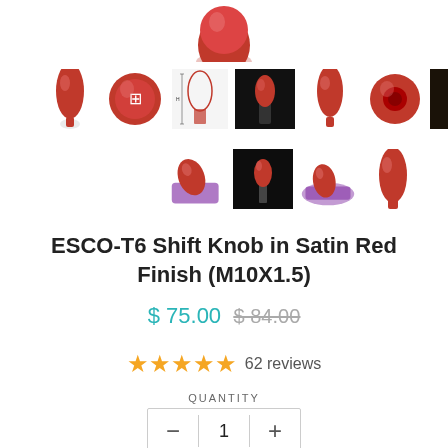[Figure (photo): Partial view of a red shift knob product at the top of the page]
[Figure (photo): Row of product thumbnail images showing red shift knobs from various angles, including a top-down view, dimension diagram, installed in car, and side views]
[Figure (photo): Second row of product thumbnails showing shift knob with purple wax block, installed red shift knob, purple wax cloth, and bullet-shaped red knob]
ESCO-T6 Shift Knob in Satin Red Finish (M10X1.5)
$ 75.00  $ 84.00
62 reviews
QUANTITY
1